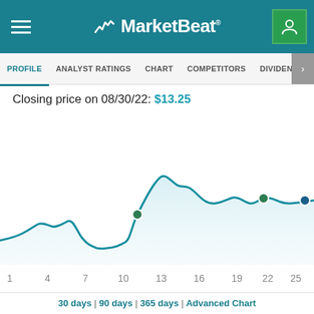MarketBeat
PROFILE | ANALYST RATINGS | CHART | COMPETITORS | DIVIDEND | EARNINGS
Closing price on 08/30/22: $13.25
[Figure (line-chart): Stock price chart]
30 days | 90 days | 365 days | Advanced Chart